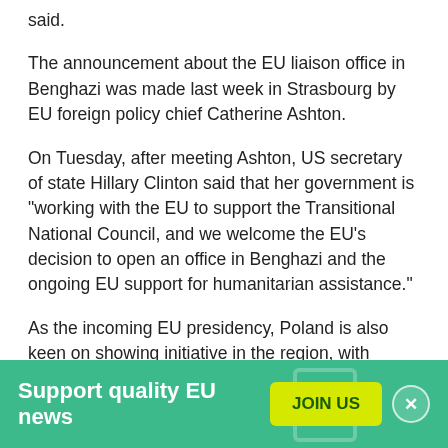said.
The announcement about the EU liaison office in Benghazi was made last week in Strasbourg by EU foreign policy chief Catherine Ashton.
On Tuesday, after meeting Ashton, US secretary of state Hillary Clinton said that her government is "working with the EU to support the Transitional National Council, and we welcome the EU’s decision to open an office in Benghazi and the ongoing EU support for humanitarian assistance."
As the incoming EU presidency, Poland is also keen on showing initiative in the region, with foreign minister
[Figure (infographic): Green banner advertisement for EU news support with JOIN US button and close button]
Support quality EU news
JOIN US